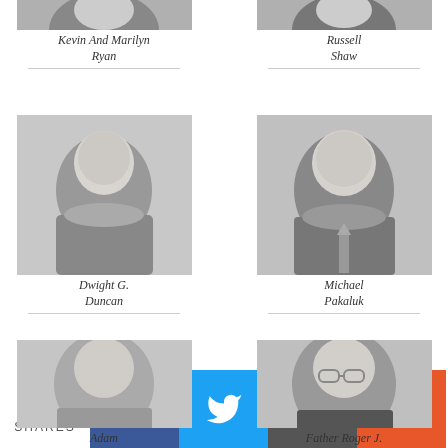[Figure (photo): Partial portrait photo of Kevin And Marilyn Ryan]
Kevin And Marilyn Ryan
[Figure (photo): Partial portrait photo of Russell Shaw]
Russell Shaw
[Figure (photo): Portrait photo of Dwight G. Duncan]
Dwight G. Duncan
[Figure (photo): Portrait photo of Michael Pakaluk]
Michael Pakaluk
[Figure (photo): Partial portrait photo of Adam Johnson]
Adam Johnson
[Figure (photo): Partial portrait photo of Father Roger J. Landry]
Father Roger J. Landry
0 SHARES